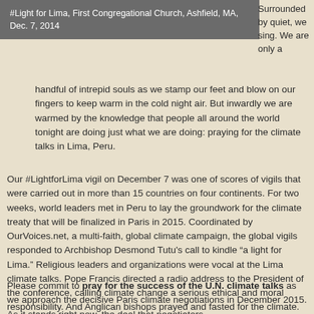#Light for Lima, First Congregational Church, Ashfield, MA, Dec. 7, 2014
Surrounded by quiet, we sing. We are only a handful of intrepid souls as we stamp our feet and blow on our fingers to keep warm in the cold night air. But inwardly we are warmed by the knowledge that people all around the world tonight are doing just what we are doing: praying for the climate talks in Lima, Peru.
Our #LightforLima vigil on December 7 was one of scores of vigils that were carried out in more than 15 countries on four continents. For two weeks, world leaders met in Peru to lay the groundwork for the climate treaty that will be finalized in Paris in 2015. Coordinated by OurVoices.net, a multi-faith, global climate campaign, the global vigils responded to Archbishop Desmond Tutu's call to kindle “a light for Lima.” Religious leaders and organizations were vocal at the Lima climate talks. Pope Francis directed a radio address to the President of the conference, calling climate change a serious ethical and moral responsibility. And Anglican bishops prayed and fasted for the climate.
Please commit to pray for the success of the U.N. climate talks as we approach the decisive Paris climate negotiations in December 2015. As it stands right now, the deal that negotiators